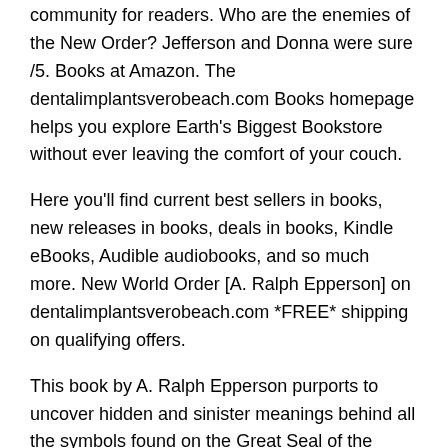community for readers. Who are the enemies of the New Order? Jefferson and Donna were sure /5. Books at Amazon. The dentalimplantsverobeach.com Books homepage helps you explore Earth's Biggest Bookstore without ever leaving the comfort of your couch.
Here you'll find current best sellers in books, new releases in books, deals in books, Kindle eBooks, Audible audiobooks, and so much more. New World Order [A. Ralph Epperson] on dentalimplantsverobeach.com *FREE* shipping on qualifying offers.
This book by A. Ralph Epperson purports to uncover hidden and sinister meanings behind all the symbols found on the Great Seal of the United StatesCited by: A listing of every cruise ship on order. The New World Order is a New York Times best-selling book authored by Pat New order book, published in by Word Publishing.
In the book, Robertson purports to expose a behind-the-scenes Establishment with enormous power controlling American policy, whose "principal goal is the establishment of a one-world government where the control of money is in the hands of one or more privately